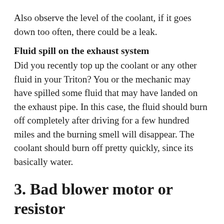Also observe the level of the coolant, if it goes down too often, there could be a leak.
Fluid spill on the exhaust system
Did you recently top up the coolant or any other fluid in your Triton? You or the mechanic may have spilled some fluid that may have landed on the exhaust pipe. In this case, the fluid should burn off completely after driving for a few hundred miles and the burning smell will disappear. The coolant should burn off pretty quickly, since its basically water.
3. Bad blower motor or resistor